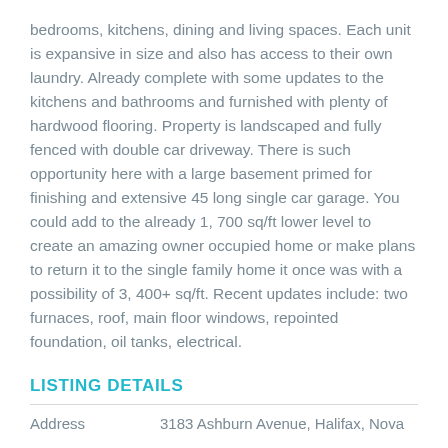bedrooms, kitchens, dining and living spaces. Each unit is expansive in size and also has access to their own laundry. Already complete with some updates to the kitchens and bathrooms and furnished with plenty of hardwood flooring. Property is landscaped and fully fenced with double car driveway. There is such opportunity here with a large basement primed for finishing and extensive 45 long single car garage. You could add to the already 1, 700 sq/ft lower level to create an amazing owner occupied home or make plans to return it to the single family home it once was with a possibility of 3, 400+ sq/ft. Recent updates include: two furnaces, roof, main floor windows, repointed foundation, oil tanks, electrical.
LISTING DETAILS
|  |  |
| --- | --- |
| Address | 3183 Ashburn Avenue, Halifax, Nova |